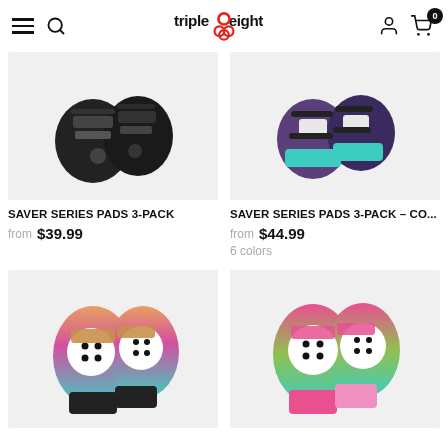triple eight - navigation header with hamburger menu, search, logo, account and cart icons
[Figure (photo): Black wrist guards / protective pads product photo on light gray background]
SAVER SERIES PADS 3-PACK
from $39.99
[Figure (photo): Colorful teal/purple wrist guards protective pads product photo on light gray background]
SAVER SERIES PADS 3-PACK - CO...
from $44.99
6 colors
[Figure (photo): Rainbow/gradient knee and elbow pads 3-pack on light gray background]
[Figure (photo): Pink/rainbow gradient knee and elbow pads 3-pack on light gray background]